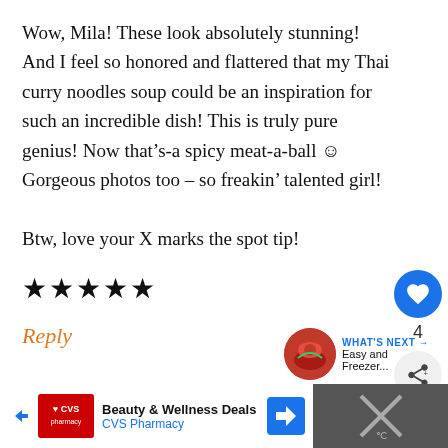Wow, Mila! These look absolutely stunning! And I feel so honored and flattered that my Thai curry noodles soup could be an inspiration for such an incredible dish! This is truly pure genius! Now that’s-a spicy meat-a-ball ☺ Gorgeous photos too – so freakin’ talented girl!

Btw, love your X marks the spot tip!
★★★★★
Reply